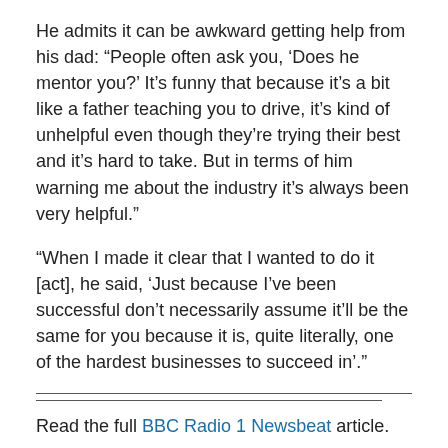He admits it can be awkward getting help from his dad: “People often ask you, ‘Does he mentor you?’ It’s funny that because it’s a bit like a father teaching you to drive, it’s kind of unhelpful even though they’re trying their best and it’s hard to take. But in terms of him warning me about the industry it’s always been very helpful.”
“When I made it clear that I wanted to do it [act], he said, ‘Just because I’ve been successful don’t necessarily assume it’ll be the same for you because it is, quite literally, one of the hardest businesses to succeed in’.”
Read the full BBC Radio 1 Newsbeat article.